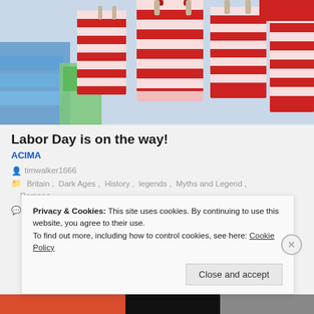[Figure (photo): Photo of red and white striped gift bags or packaging items in a retail store setting with colorful shelves in background]
Labor Day is on the way!
ACIMA
timwalker1666
Britain, Dark Ages, History, legends, Myths and Legend, Romans
1 Comment   Mar 7, 2020   2 Minutes
Privacy & Cookies: This site uses cookies. By continuing to use this website, you agree to their use.
To find out more, including how to control cookies, see here: Cookie Policy
Close and accept